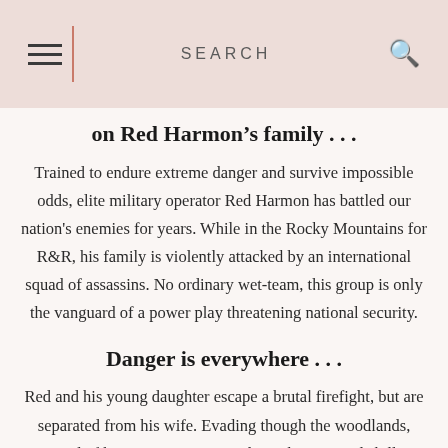SEARCH
on Red Harmon’s family . . .
Trained to endure extreme danger and survive impossible odds, elite military operator Red Harmon has battled our nation's enemies for years. While in the Rocky Mountains for R&R, his family is violently attacked by an international squad of assassins. No ordinary wet-team, this group is only the vanguard of a power play threatening national security.
Danger is everywhere . . .
Red and his young daughter escape a brutal firefight, but are separated from his wife. Evading though the woodlands, stripped of his unit’s support, Red puts his survival skills to the test all the way from Pikes Peak National Forest to Israel’s West Bank. He must defend